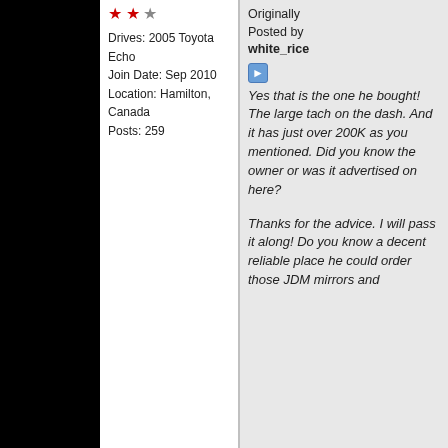Drives: 2005 Toyota Echo
Join Date: Sep 2010
Location: Hamilton, Canada
Posts: 259
Originally Posted by white_rice
Yes that is the one he bought! The large tach on the dash. And it has just over 200K as you mentioned. Did you know the owner or was it advertised on here?

Thanks for the advice. I will pass it along! Do you know a decent reliable place he could order those JDM mirrors and